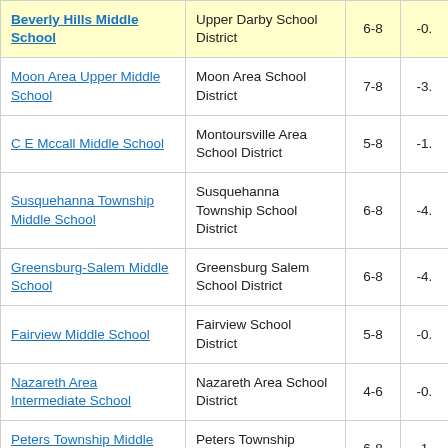| School | District | Grades | Score |
| --- | --- | --- | --- |
| Beverly Hills Middle School | Upper Darby School District | 6-8 | -0. |
| Moon Area Upper Middle School | Moon Area School District | 7-8 | -3. |
| C E Mccall Middle School | Montoursville Area School District | 5-8 | -1. |
| Susquehanna Township Middle School | Susquehanna Township School District | 6-8 | -4. |
| Greensburg-Salem Middle School | Greensburg Salem School District | 6-8 | -4. |
| Fairview Middle School | Fairview School District | 5-8 | -0. |
| Nazareth Area Intermediate School | Nazareth Area School District | 4-6 | -0. |
| Peters Township Middle School | Peters Township School District | 6-8 | 1 |